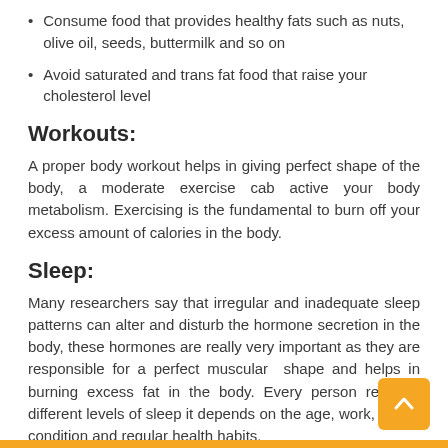Consume food that provides healthy fats such as nuts, olive oil, seeds, buttermilk and so on
Avoid saturated and trans fat food that raise your cholesterol level
Workouts:
A proper body workout helps in giving perfect shape of the body, a moderate exercise cab active your body metabolism. Exercising is the fundamental to burn off your excess amount of calories in the body.
Sleep:
Many researchers say that irregular and inadequate sleep patterns can alter and disturb the hormone secretion in the body, these hormones are really very important as they are responsible for a perfect muscular  shape and helps in burning excess fat in the body. Every person requires different levels of sleep it depends on the age, work, health condition and regular health habits.